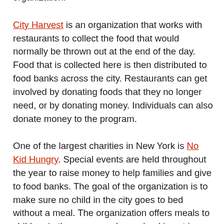organization.
City Harvest is an organization that works with restaurants to collect the food that would normally be thrown out at the end of the day. Food that is collected here is then distributed to food banks across the city. Restaurants can get involved by donating foods that they no longer need, or by donating money. Individuals can also donate money to the program.
One of the largest charities in New York is No Kid Hungry. Special events are held throughout the year to raise money to help families and give to food banks. The goal of the organization is to make sure no child in the city goes to bed without a meal. The organization offers meals to children in the summer when school is not in session so that they have something to eat throughout